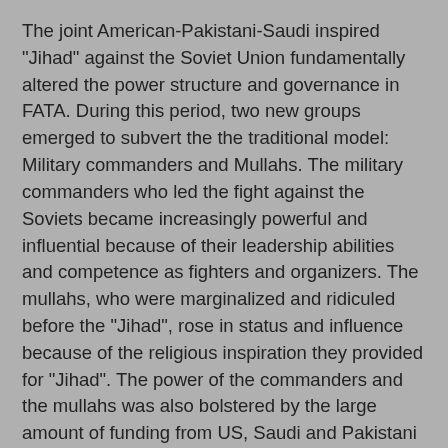The joint American-Pakistani-Saudi inspired "Jihad" against the Soviet Union fundamentally altered the power structure and governance in FATA. During this period, two new groups emerged to subvert the the traditional model: Military commanders and Mullahs. The military commanders who led the fight against the Soviets became increasingly powerful and influential because of their leadership abilities and competence as fighters and organizers. The mullahs, who were marginalized and ridiculed before the "Jihad", rose in status and influence because of the religious inspiration they provided for "Jihad". The power of the commanders and the mullahs was also bolstered by the large amount of funding from US, Saudi and Pakistani sources that they received and controlled in this period. The PAs and the maliks are no longer unchallenged as the de facto power brokers in FATA. The power is now more diffused.
Historically, the army only entered FATA at the invitation of the tribal leaders. More recently, however, the traditional tribal power structure has suffered powerful blows as the Pakistani military forcibly entered the tribal areas upon the urging of the Americans. These operations by Pakistani